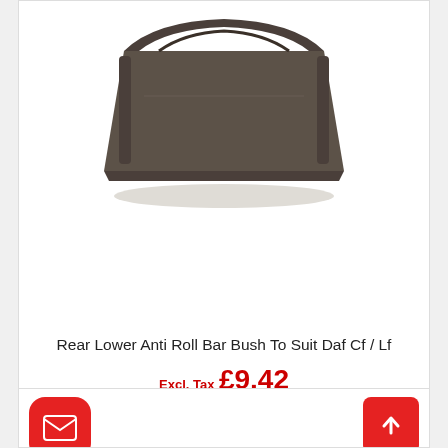[Figure (photo): Product photo of a dark grey/brown rubber anti roll bar bush component, viewed from front, showing a U-shaped channel profile]
Rear Lower Anti Roll Bar Bush To Suit Daf Cf / Lf
Excl. Tax £9.42
£11.30
[Figure (other): Email contact button (red rounded square with white envelope icon) and scroll-to-top button (red square with white upward arrow icon)]